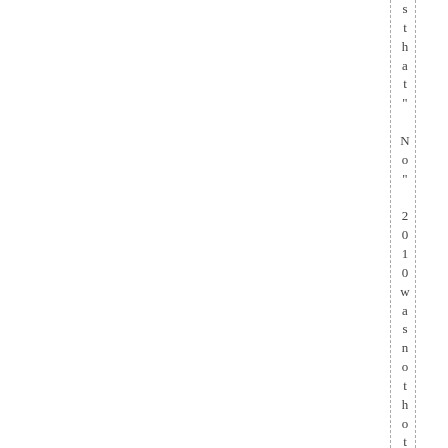s t h a t " N o " 2 0 1 0 w a s n o t h o t t e r